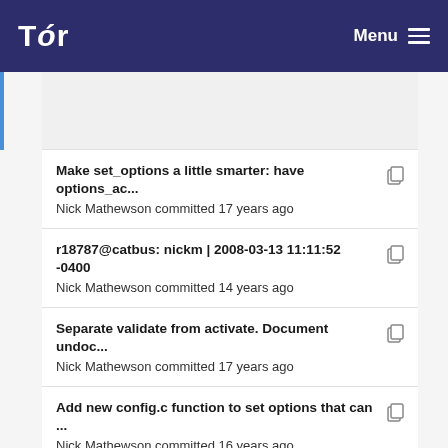Tor — Menu
Make set_options a little smarter: have options_ac... | Nick Mathewson committed 17 years ago
r18787@catbus: nickm | 2008-03-13 11:11:52 -0400 | Nick Mathewson committed 14 years ago
Separate validate from activate. Document undoc... | Nick Mathewson committed 17 years ago
Add new config.c function to set options that can ... | Nick Mathewson committed 16 years ago
When the controller's *setconf commands fail, coll... | Roger Dingledine committed 16 years ago
Docment or add DOCDOC comments to undocum... | Nick Mathewson committed 17 years ago
Make set_options a little smarter: have options_ac...